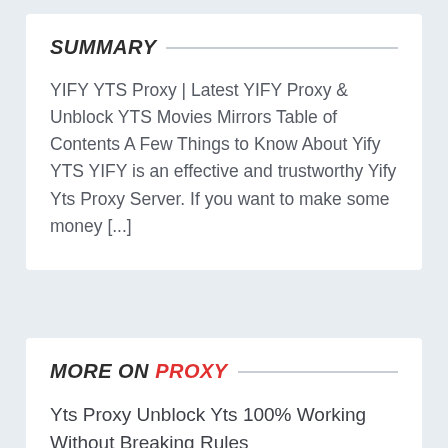SUMMARY
YIFY YTS Proxy | Latest YIFY Proxy & Unblock YTS Movies Mirrors Table of Contents A Few Things to Know About Yify YTS YIFY is an effective and trustworthy Yify Yts Proxy Server. If you want to make some money [...]
MORE ON PROXY
Yts Proxy Unblock Yts 100% Working Without Breaking Rules
Watch Series Proxy – Unblock For Wat...